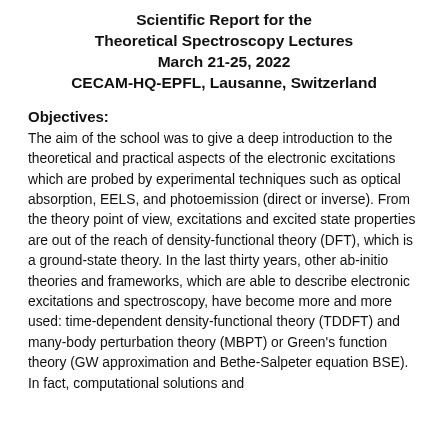Scientific Report for the Theoretical Spectroscopy Lectures March 21-25, 2022 CECAM-HQ-EPFL, Lausanne, Switzerland
Objectives:
The aim of the school was to give a deep introduction to the theoretical and practical aspects of the electronic excitations which are probed by experimental techniques such as optical absorption, EELS, and photoemission (direct or inverse). From the theory point of view, excitations and excited state properties are out of the reach of density-functional theory (DFT), which is a ground-state theory. In the last thirty years, other ab-initio theories and frameworks, which are able to describe electronic excitations and spectroscopy, have become more and more used: time-dependent density-functional theory (TDDFT) and many-body perturbation theory (MBPT) or Green's function theory (GW approximation and Bethe-Salpeter equation BSE). In fact, computational solutions and